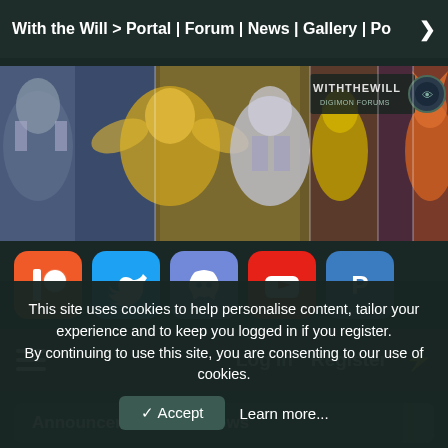With the Will > Portal | Forum | News | Gallery | Po >
[Figure (screenshot): With the Will Digimon Forums banner showing various Digimon characters in a collage strip with the WITHTHEWILL DIGIMON FORUMS logo]
[Figure (infographic): Social media icons row: Patreon (red/orange), Twitter (blue), Discord (purple), YouTube (red), PayPal (blue)]
≡   Log in   Register   ⚡
Announcements and News
Digital Single Released for First Riders, Ghost
This site uses cookies to help personalise content, tailor your experience and to keep you logged in if you register.
By continuing to use this site, you are consenting to our use of cookies.
✓ Accept
Learn more...